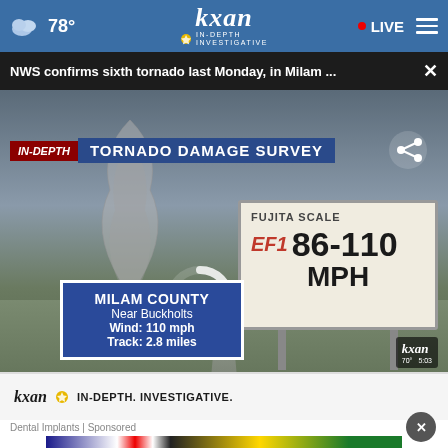78° kxan IN-DEPTH INVESTIGATIVE • LIVE
NWS confirms sixth tornado last Monday, in Milam ...
[Figure (screenshot): KXAN news broadcast screenshot showing IN-DEPTH TORNADO DAMAGE SURVEY with video of tornado and a sign showing FUJITA SCALE EF1 86-110 MPH. Lower-left graphic reads MILAM COUNTY Near Buckholts Wind: 110 mph Track: 2.8 miles. Bottom bar: kxan IN-DEPTH. INVESTIGATIVE. KXAN logo with 70° 5:03.]
Dental Implants | Sponsored
[Figure (screenshot): Advertisement banner: ABC HOME & COMMERCIAL SERVICES logo, HIRING FOR MANY POSITIONS text, Apply Now button in yellow, person in uniform on right side.]